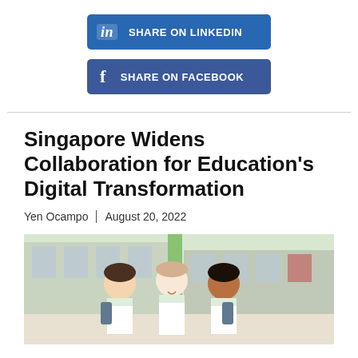[Figure (other): Share on LinkedIn button with LinkedIn logo icon]
[Figure (other): Share on Facebook button with Facebook logo icon]
Singapore Widens Collaboration for Education's Digital Transformation
Yen Ocampo | August 20, 2022
[Figure (photo): Photo of three school children in uniforms looking at something together, with a school building in the background]